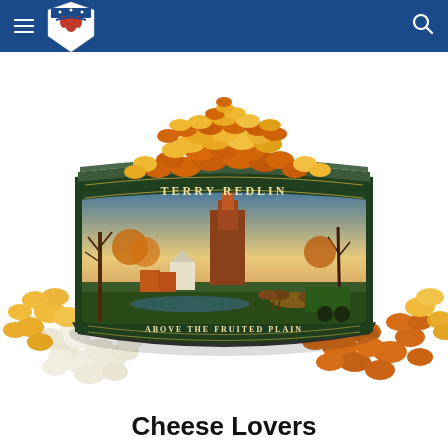Boy Scouts of America navigation bar
[Figure (photo): A large cylindrical popcorn tin with a Terry Redlin artwork label reading 'TERRY REDLIN' and 'ABOVE THE FRUITED PLAIN'. The tin is filled with cheese popcorn on top and surrounded by scattered popcorn including yellow cheese, orange cheddar, and white popcorn varieties.]
Cheese Lovers